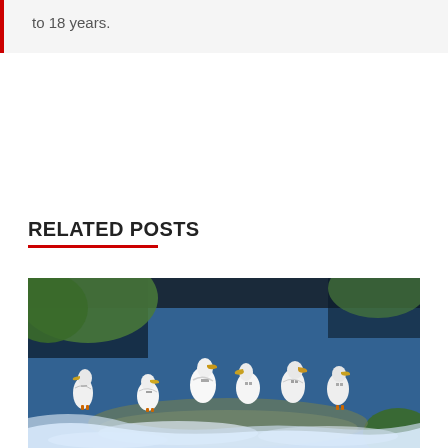to 18 years.
RELATED POSTS
[Figure (photo): White pelicans standing on rocks in a rushing river with blue water and green foliage in the background]